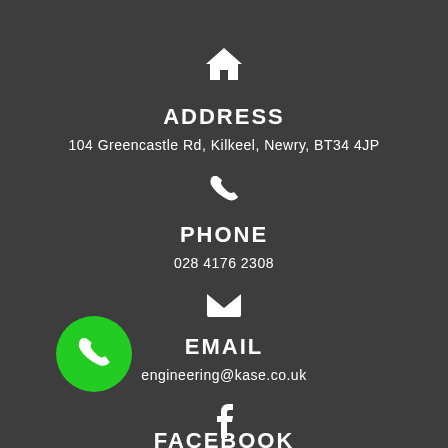[Figure (illustration): Home/house icon (white)]
ADDRESS
104 Greencastle Rd, Kilkeel, Newry, BT34 4JP
[Figure (illustration): Phone handset icon (white)]
PHONE
028 4176 2308
[Figure (illustration): Envelope/email icon (white)]
EMAIL
engineering@kase.co.uk
[Figure (illustration): Facebook 'f' icon (white)]
FACEBOOK
[Figure (illustration): Green circular button with white phone handset icon (bottom left)]